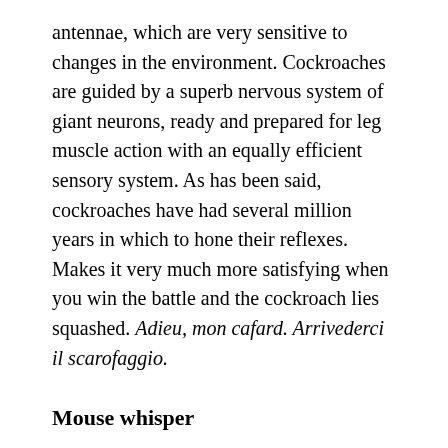antennae, which are very sensitive to changes in the environment. Cockroaches are guided by a superb nervous system of giant neurons, ready and prepared for leg muscle action with an equally efficient sensory system. As has been said, cockroaches have had several million years in which to hone their reflexes. Makes it very much more satisfying when you win the battle and the cockroach lies squashed. Adieu, mon cafard. Arrivederci il scarofaggio.
Mouse whisper
I love the aptly named Queensland Minister Dick who has labelled Queenslanders the